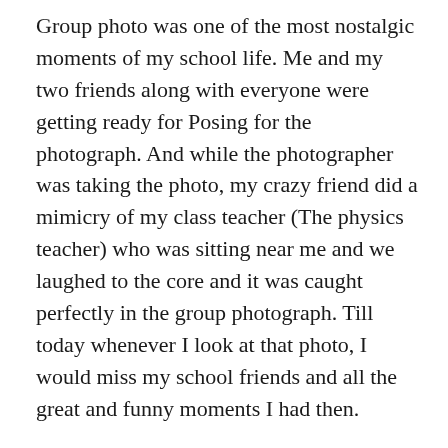Group photo was one of the most nostalgic moments of my school life. Me and my two friends along with everyone were getting ready for Posing for the photograph. And while the photographer was taking the photo, my crazy friend did a mimicry of my class teacher (The physics teacher) who was sitting near me and we laughed to the core and it was caught perfectly in the group photograph. Till today whenever I look at that photo, I would miss my school friends and all the great and funny moments I had then.
Distributing toffees on our birthdays and wearing colored dress gave a great sense of pride in those days. Everyone will get a beating for not completing homework and we will escape with ease because it's our birthday and no one should hit anyone on their